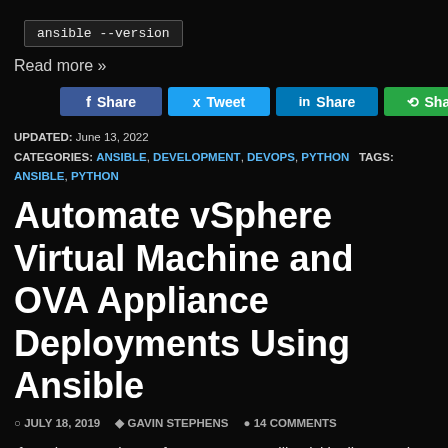ansible --version
Read more »
[Figure (infographic): Social share buttons: Facebook Share, Twitter Tweet, LinkedIn Share, green Share]
UPDATED: June 13, 2022
CATEGORIES: ANSIBLE, DEVELOPMENT, DEVOPS, PYTHON   TAGS: ANSIBLE, PYTHON
Automate vSphere Virtual Machine and OVA Appliance Deployments Using Ansible
JULY 18, 2019  GAVIN STEPHENS  14 COMMENTS
If you have read any of my posts, you will quickly discover that I use Ansible a lot, for deploying virtual machines and VMware OVA appliances, on vSphere.